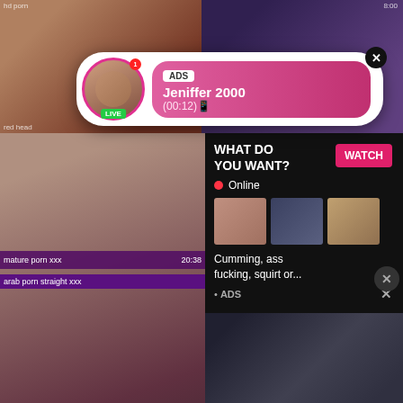[Figure (screenshot): Adult content website screenshot showing video thumbnails grid with overlay advertisements. Top section shows two video thumbnails. Middle section shows a large video thumbnail on left with an ad overlay on right ('WHAT DO YOU WANT? WATCH, Online, Cumming, ass fucking, squirt or... ADS'). Bottom section shows two more video thumbnails labeled 'arab porn straight xxx' (20:38) and 'bondage porn xxx' (4:47), plus two more below.]
ADS
Jeniffer 2000
(00:12)
LIVE
WHAT DO YOU WANT?
WATCH
Online
Cumming, ass fucking, squirt or...
• ADS
hd porn
red head
8:00
mature porn xxx
20:38
bondage porn xxx
4:47
arab porn straight xxx
amateur porn bdsm xxx